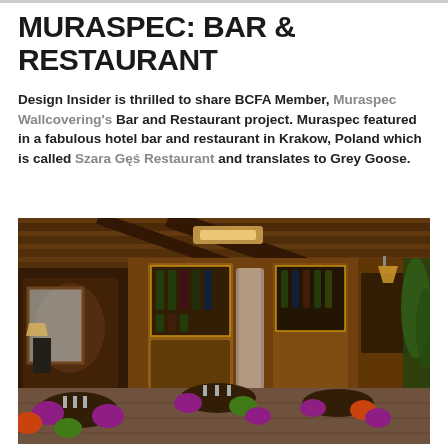MURASPEC: BAR & RESTAURANT
Design Insider is thrilled to share BCFA Member, Muraspec Wallcovering's Bar and Restaurant project. Muraspec featured in a fabulous hotel bar and restaurant in Krakow, Poland which is called Szara Gęś Restaurant and translates to Grey Goose.
[Figure (photo): Interior of Szara Gęś Restaurant in Krakow, Poland — a richly decorated hotel bar and restaurant with wooden beam ceiling, colourful upholstered chairs in purple, green, orange and plaid, round dark wood tables set for dining, wine cabinet displays along the walls, ornate wooden furnishings, and warm atmospheric lighting.]